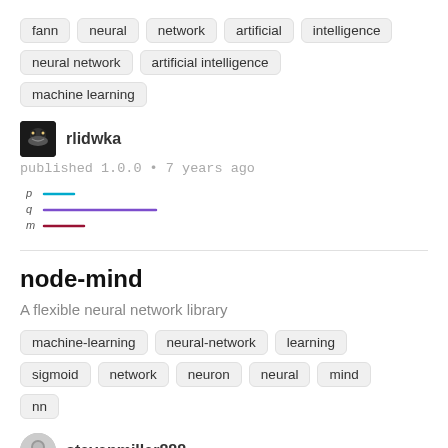fann
neural
network
artificial
intelligence
neural network
artificial intelligence
machine learning
rlidwka
published 1.0.0 • 7 years ago
[Figure (bar-chart): Download frequency chart with three rows: p (cyan short bar), q (purple longer bar), m (dark red short bar)]
node-mind
A flexible neural network library
machine-learning
neural-network
learning
sigmoid
network
neuron
neural
mind
nn
stevenmiller888
published 1.0.1 • 5 years ago